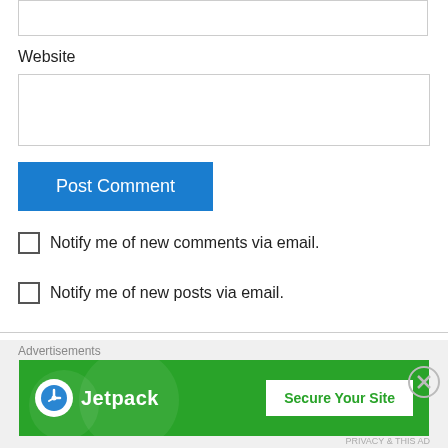Website
Post Comment
Notify me of new comments via email.
Notify me of new posts via email.
Pingback: A Game-By-Game Recap of NU's Football Season « Sherman Ave
[Figure (screenshot): Jetpack advertisement banner with green background, Jetpack logo on left and 'Secure Your Site' button on right]